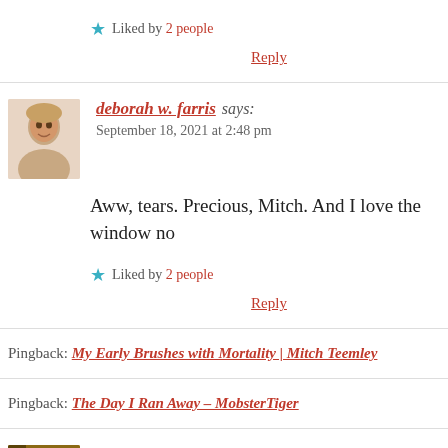★ Liked by 2 people
Reply
deborah w. farris says:
September 18, 2021 at 2:48 pm
Aww, tears. Precious, Mitch. And I love the window no
★ Liked by 2 people
Reply
Pingback: My Early Brushes with Mortality | Mitch Teemley
Pingback: The Day I Ran Away – MobsterTiger
Jennie says: